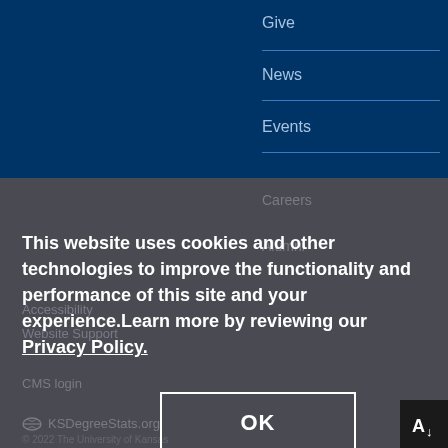Give
News
Events
Careers
Alumni
This website uses cookies and other technologies to improve the functionality and performance of this site and your experience.Learn more by reviewing our Privacy Policy.
Accessibility
Website Support
CMS login
KSDegreeStats.org
© 2022 The University of Kansas